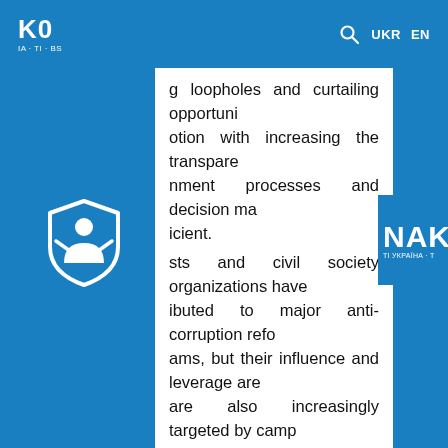K0 | IA·TI·BS | UKR EN
g loopholes and curtailing opportuni otion with increasing the transpare nment processes and decision ma icient. sts and civil society organizations have ibuted to major anti-corruption refo ams, but their influence and leverage are are also increasingly targeted by camp dation and violence. vergence with respect to the pa encing of change has emerged betwe corruption activists, on the one hand, and rs and partners working in Ukraine, on th er complicating efforts to achieve acco vernance. national donors and foreign governments n from providing financial support nment in areas where it fails to deliver
[Figure (logo): Shield logo with figure icon, TI Ukraine branding]
[Figure (logo): NAK logo text with TI UKRAINA - T subtitle]